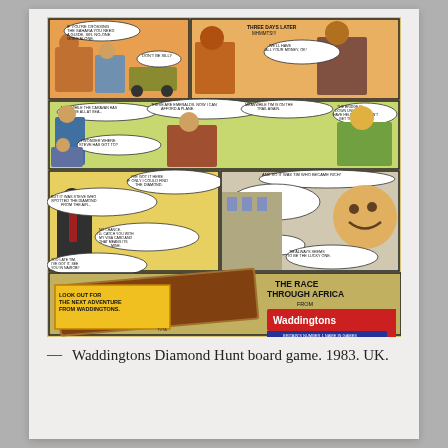[Figure (illustration): Comic strip advertisement for Waddingtons Diamond Hunt board game (1983, UK). Shows multiple comic panels depicting an adventure story through Africa with characters, speech bubbles, and action scenes. Bottom portion shows the game box labeled 'Diamond Hunt' and text reading 'THE RACE THROUGH AFRICA FROM Waddingtons BRITAIN'S NUMBER 1 NAME IN GAMES'. Also includes a yellow box: 'LOOK OUT FOR THE NEXT ADVENTURE FROM WADDINGTONS.' with 'TVTA' credit.]
— Waddingtons Diamond Hunt board game. 1983. UK.